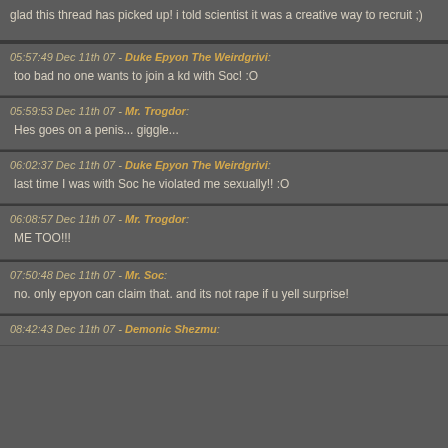glad this thread has picked up! i told scientist it was a creative way to recruit ;)
05:57:49 Dec 11th 07 - Duke Epyon The Weirdgrivi:
too bad no one wants to join a kd with Soc! :O
05:59:53 Dec 11th 07 - Mr. Trogdor:
Hes goes on a penis... giggle...
06:02:37 Dec 11th 07 - Duke Epyon The Weirdgrivi:
last time I was with Soc he violated me sexually!! :O
06:08:57 Dec 11th 07 - Mr. Trogdor:
ME TOO!!!
07:50:48 Dec 11th 07 - Mr. Soc:
no. only epyon can claim that. and its not rape if u yell surprise!
08:42:43 Dec 11th 07 - Demonic Shezmu: